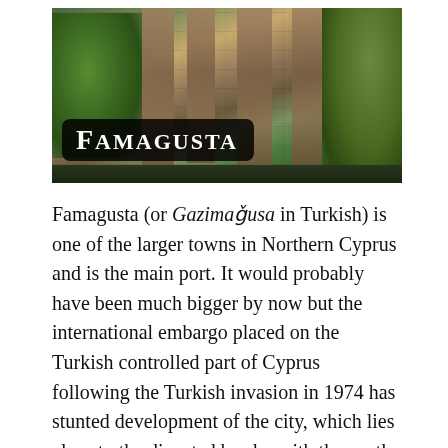[Figure (photo): Photograph of ancient stone ruins (Gothic cathedral-style columns and walls) in Famagusta, with green trees and palm trees visible. A title overlay reads 'FAMAGUSTA' in white bold serif text on a dark rounded-rectangle background.]
Famagusta (or Gazimaǧusa in Turkish) is one of the larger towns in Northern Cyprus and is the main port. It would probably have been much bigger by now but the international embargo placed on the Turkish controlled part of Cyprus following the Turkish invasion in 1974 has stunted development of the city, which lies close to the disputed border with the south (Republic of Cyprus).